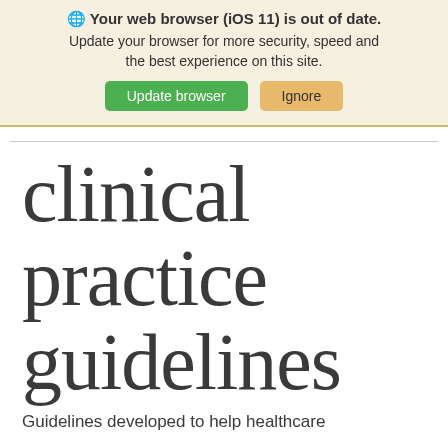[Figure (screenshot): Browser update notification banner with globe icon, bold warning text, body text, and two buttons: green 'Update browser' and tan 'Ignore']
clinical practice guidelines
Guidelines developed to help healthcare